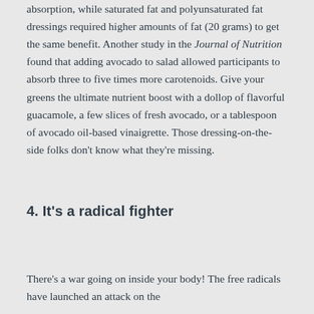absorption, while saturated fat and polyunsaturated fat dressings required higher amounts of fat (20 grams) to get the same benefit. Another study in the Journal of Nutrition found that adding avocado to salad allowed participants to absorb three to five times more carotenoids. Give your greens the ultimate nutrient boost with a dollop of flavorful guacamole, a few slices of fresh avocado, or a tablespoon of avocado oil-based vinaigrette. Those dressing-on-the-side folks don't know what they're missing.
4. It's a radical fighter
There's a war going on inside your body! The free radicals have launched an attack on the